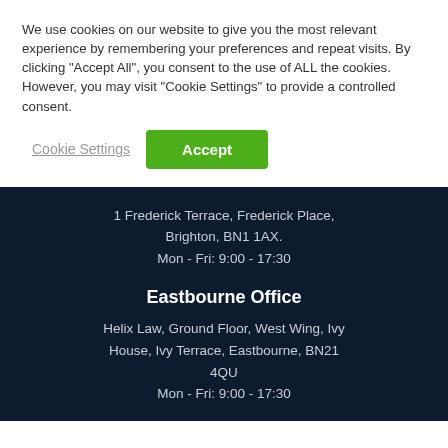We use cookies on our website to give you the most relevant experience by remembering your preferences and repeat visits. By clicking "Accept All", you consent to the use of ALL the cookies. However, you may visit "Cookie Settings" to provide a controlled consent.
Cookie Settings
Accept
1 Frederick Terrace, Frederick Place, Brighton, BN1 1AX.
Mon - Fri: 9:00 - 17:30
Eastbourne Office
Helix Law, Ground Floor, West Wing, Ivy House, Ivy Terrace, Eastbourne, BN21 4QU
Mon - Fri: 9:00 - 17:30